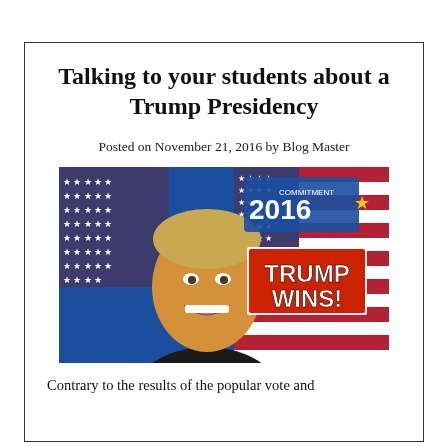Talking to your students about a Trump Presidency
Posted on November 21, 2016 by Blog Master
[Figure (photo): News graphic showing Donald Trump smiling in front of an American flag with text 'COMMITMENT 2016' and 'TRUMP WINS!' displayed prominently]
Contrary to the results of the popular vote and